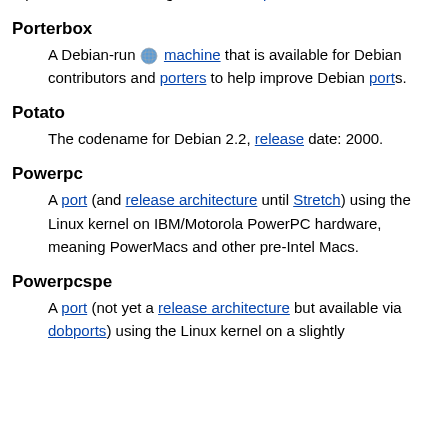A person who is working on a Debian port.
Porterbox
A Debian-run [globe] machine that is available for Debian contributors and porters to help improve Debian ports.
Potato
The codename for Debian 2.2, release date: 2000.
Powerpc
A port (and release architecture until Stretch) using the Linux kernel on IBM/Motorola PowerPC hardware, meaning PowerMacs and other pre-Intel Macs.
Powerpcspe
A port (not yet a release architecture but available via dobports) using the Linux kernel on a slightly